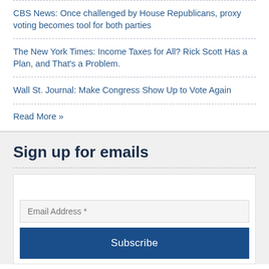CBS News: Once challenged by House Republicans, proxy voting becomes tool for both parties
The New York Times: Income Taxes for All? Rick Scott Has a Plan, and That's a Problem.
Wall St. Journal: Make Congress Show Up to Vote Again
Read More »
Sign up for emails
[Figure (screenshot): Email sign-up form with an email address input field and a Subscribe button]